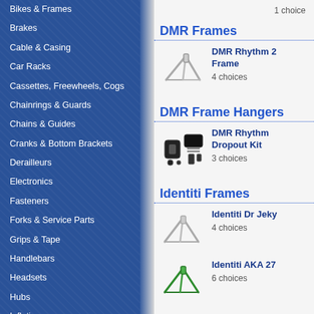Bikes & Frames
Brakes
Cable & Casing
Car Racks
Cassettes, Freewheels, Cogs
Chainrings & Guards
Chains & Guides
Cranks & Bottom Brackets
Derailleurs
Electronics
Fasteners
Forks & Service Parts
Grips & Tape
Handlebars
Headsets
Hubs
Inflation
Lights
Locks
Maintenance Products
Merchandising
Nutrition & Wellness
Pedals
Rear Shocks & Service Parts
1 choice
DMR Frames
[Figure (photo): DMR Rhythm 2 Frame - silver/grey bike frame]
DMR Rhythm 2 Frame
4 choices
DMR Frame Hangers
[Figure (photo): DMR Rhythm Dropout Kit - black metal dropout components]
DMR Rhythm Dropout Kit
3 choices
Identiti Frames
[Figure (photo): Identiti Dr Jeky frame - silver bike frame]
Identiti Dr Jeky
4 choices
[Figure (photo): Identiti AKA 27 frame - green bike frame]
Identiti AKA 27
6 choices